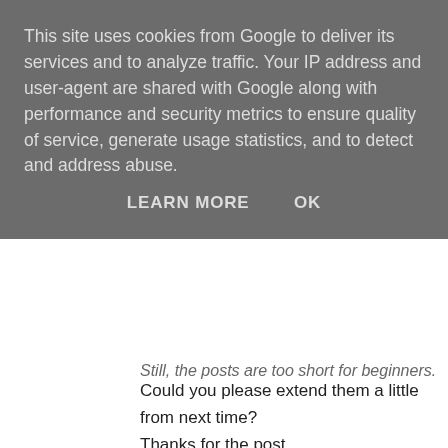This site uses cookies from Google to deliver its services and to analyze traffic. Your IP address and user-agent are shared with Google along with performance and security metrics to ensure quality of service, generate usage statistics, and to detect and address abuse.
LEARN MORE    OK
Still, the posts are too short for beginners.
Could you please extend them a little from next time?
Thanks for the post.
tuxera ntfs crack
the isle crack
dvd cloner crack 2
tokyo ghoul re call to exist crack
Reply
gawgfwgsvgvgV 8 September 2021 at 13:15
Hi, I do believe this is an excellent blog. I stumbledupon it ☺ I will come back once again since i have book marked it.